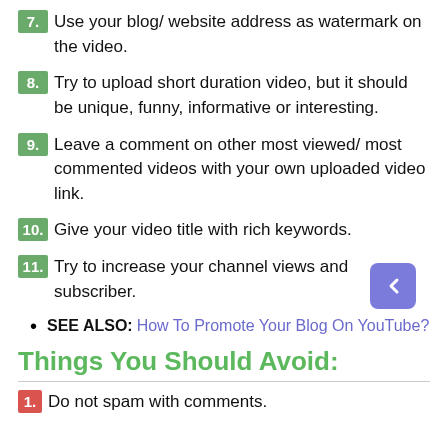7. Use your blog/ website address as watermark on the video.
8. Try to upload short duration video, but it should be unique, funny, informative or interesting.
9. Leave a comment on other most viewed/ most commented videos with your own uploaded video link.
10. Give your video title with rich keywords.
11. Try to increase your channel views and subscriber.
SEE ALSO: How To Promote Your Blog On YouTube?
Things You Should Avoid:
1. Do not spam with comments.